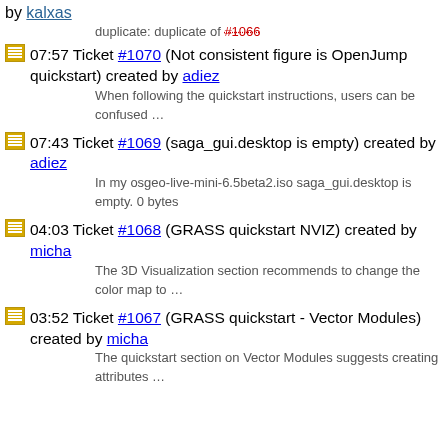by kalxas
duplicate: duplicate of #1066
07:57 Ticket #1070 (Not consistent figure is OpenJump quickstart) created by adiez — When following the quickstart instructions, users can be confused …
07:43 Ticket #1069 (saga_gui.desktop is empty) created by adiez — In my osgeo-live-mini-6.5beta2.iso saga_gui.desktop is empty. 0 bytes
04:03 Ticket #1068 (GRASS quickstart NVIZ) created by micha — The 3D Visualization section recommends to change the color map to …
03:52 Ticket #1067 (GRASS quickstart - Vector Modules) created by micha — The quickstart section on Vector Modules suggests creating attributes …